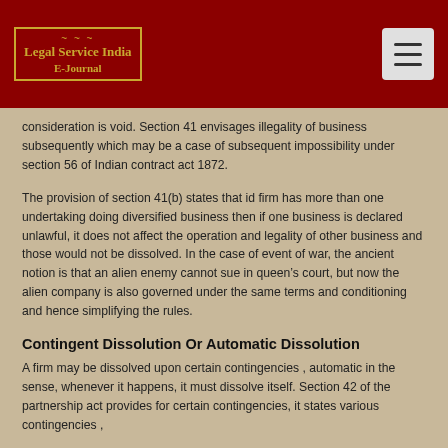Legal Service India E-Journal
consideration is void. Section 41 envisages illegality of business subsequently which may be a case of subsequent impossibility under section 56 of Indian contract act 1872.
The provision of section 41(b) states that id firm has more than one undertaking doing diversified business then if one business is declared unlawful, it does not affect the operation and legality of other business and those would not be dissolved. In the case of event of war, the ancient notion is that an alien enemy cannot sue in queen’s court, but now the alien company is also governed under the same terms and conditioning and hence simplifying the rules.
Contingent Dissolution Or Automatic Dissolution
A firm may be dissolved upon certain contingencies , automatic in the sense, whenever it happens, it must dissolve itself. Section 42 of the partnership act provides for certain contingencies, it states various contingencies ,